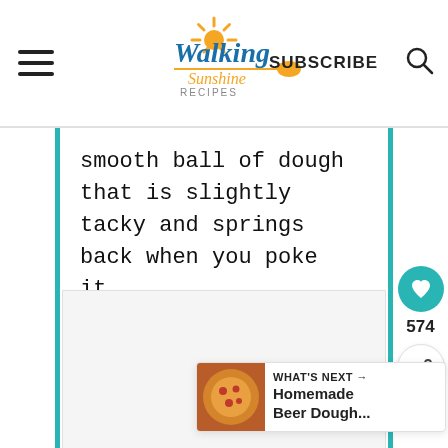Walking Sunshine Recipes — SUBSCRIBE
smooth ball of dough that is slightly tacky and springs back when you poke it.
[Figure (photo): Large white/light gray image area placeholder for a dough photo]
574
WHAT'S NEXT → Homemade Beer Dough...